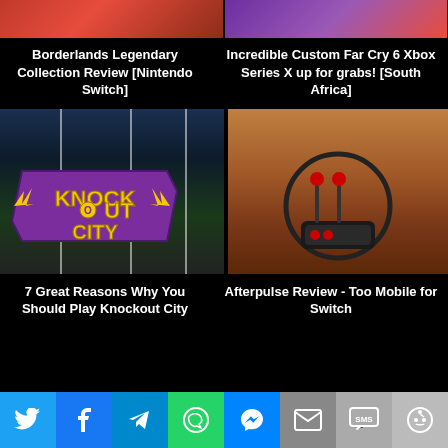[Figure (photo): Partial top image for Borderlands article, red/pink tones]
[Figure (photo): Partial top image for Far Cry 6 article, purple/red tones]
Borderlands Legendary Collection Review [Nintendo Switch]
Incredible Custom Far Cry 6 Xbox Series X up for grabs! [South Africa]
[Figure (photo): Knockout City game screenshot with logo overlay]
[Figure (photo): Afterpulse review image showing joystick controller on brown surface]
7 Great Reasons Why You Should Play Knockout City
Afterpulse Review - Too Mobile for Switch
[Figure (infographic): Social share bar with Twitter, Facebook, Telegram, WhatsApp, Messenger, Email, SMS, Reddit icons]